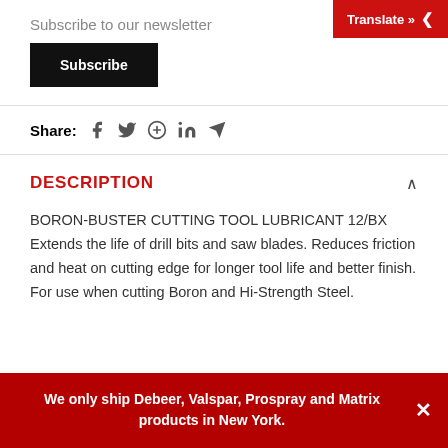Translate »
Subscribe to our newsletter
Subscribe
Share:
DESCRIPTION
BORON-BUSTER CUTTING TOOL LUBRICANT 12/BX Extends the life of drill bits and saw blades. Reduces friction and heat on cutting edge for longer tool life and better finish. For use when cutting Boron and Hi-Strength Steel.
We only ship Debeer, Valspar, Prospray and Matrix products in New York.